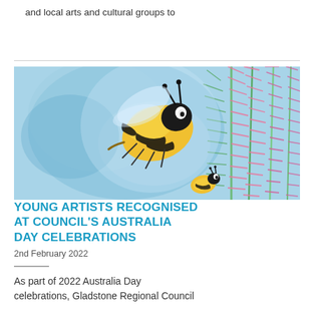and local arts and cultural groups to
[Figure (illustration): Watercolor painting of a large yellow and black striped bee with antennae on a blue background, with pink and green floral elements (bottlebrush flowers) on the right side, and a smaller bee at the bottom center.]
YOUNG ARTISTS RECOGNISED AT COUNCIL'S AUSTRALIA DAY CELEBRATIONS
2nd February 2022
As part of 2022 Australia Day celebrations, Gladstone Regional Council